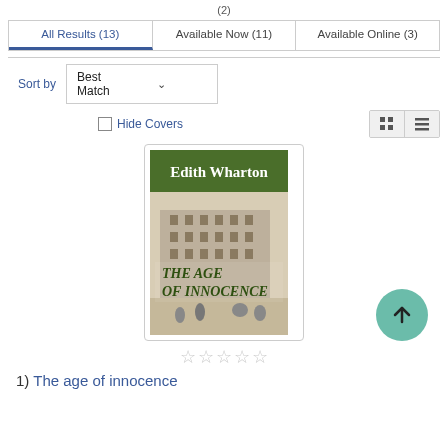(2)
All Results (13) | Available Now (11) | Available Online (3)
Sort by  Best Match
Hide Covers
[Figure (screenshot): Book cover of The Age of Innocence by Edith Wharton - green header with author name, black and white illustration of a building streetscape]
★☆☆☆☆ (five empty stars)
1)  The age of innocence